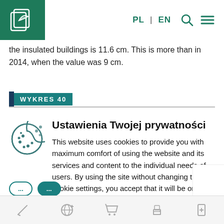PL | EN [search] [menu] — site header with green logo
the insulated buildings is 11.6 cm. This is more than in 2014, when the value was 9 cm.
WYKRES 40
[Figure (other): Cookie consent modal overlay: cookie icon, title 'Ustawienia Twojej prywatności', body text about cookie usage policy, partially visible buttons at bottom]
Bottom toolbar with icons: pencil, globe-plus, cart, printer, document-plus